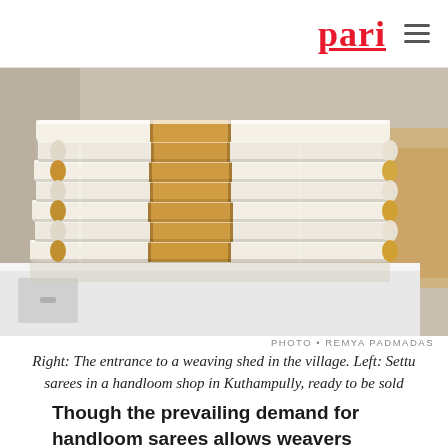pari
[Figure (photo): Stack of folded white handloom sarees with golden/brown borders, wrapped in plastic, displayed on a white surface in a handloom shop in Kuthampully]
PHOTO • REMYA PADMADAS
Right: The entrance to a weaving shed in the village. Left: Settu sarees in a handloom shop in Kuthampully, ready to be sold
Though the prevailing demand for handloom sarees allows weavers here to survive, the severe floods in August